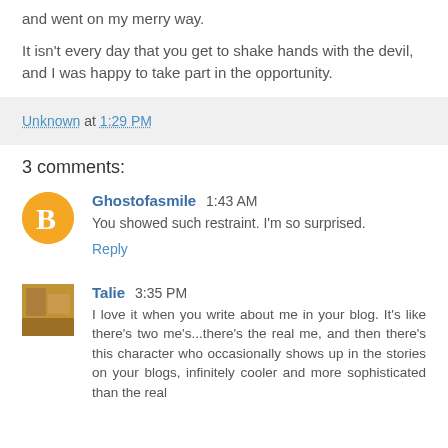and went on my merry way.
It isn't every day that you get to shake hands with the devil, and I was happy to take part in the opportunity.
Unknown at 1:29 PM
3 comments:
Ghostofasmile  1:43 AM
You showed such restraint. I'm so surprised.
Reply
Talie  3:35 PM
I love it when you write about me in your blog. It's like there's two me's...there's the real me, and then there's this character who occasionally shows up in the stories on your blogs, infinitely cooler and more sophisticated than the real